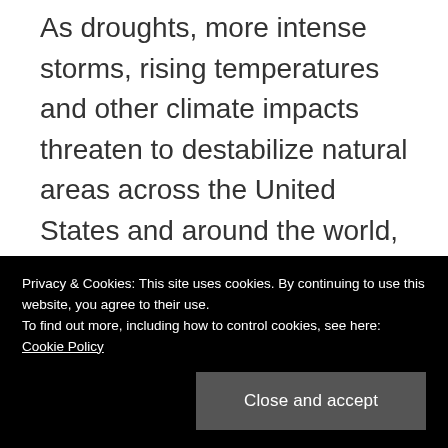As droughts, more intense storms, rising temperatures and other climate impacts threaten to destabilize natural areas across the United States and around the world, scientists believe these resilient landscapes are more likely to serve as habitat to a wide variety of plants and animals while also filtering water, cleaning the air,
Privacy & Cookies: This site uses cookies. By continuing to use this website, you agree to their use.
To find out more, including how to control cookies, see here: Cookie Policy
“This news gives us hope that – with a